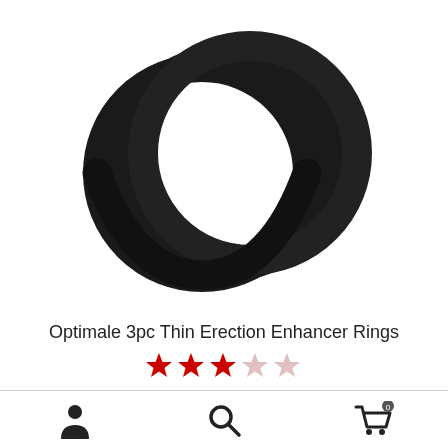[Figure (photo): Three black silicone rings (O-ring style) stacked/overlapping on a white background, representing the Optimale 3pc Thin Erection Enhancer Rings product.]
Optimale 3pc Thin Erection Enhancer Rings
[Figure (other): Star rating display showing 3 out of 5 stars, with 3 filled red stars and 2 empty/light stars.]
[Figure (other): Bottom navigation bar with three icons: a person/account icon on the left, a search magnifying glass icon in the center, and a shopping cart icon with '0' badge on the right.]